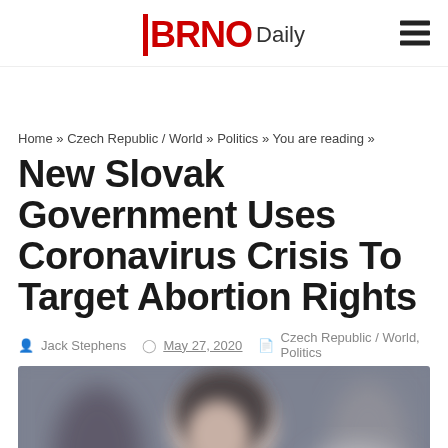BRNO Daily
Home » Czech Republic / World » Politics » You are reading »
New Slovak Government Uses Coronavirus Crisis To Target Abortion Rights
Jack Stephens   May 27, 2020   Czech Republic / World, Politics
[Figure (photo): Blurred photo of a woman at a protest holding a megaphone, with other protesters in the background]